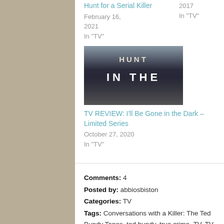Hunt for a Serial Killer
February 16, 2021
In "TV"
2017
In "TV"
[Figure (photo): Thumbnail image for TV review with text 'hunt IN THE' overlaid on dark aerial city background]
TV REVIEW: I'll Be Gone in the Dark – Limited Series
October 27, 2020
In "TV"
Comments: 4
Posted by: abbiosbiston
Categories: TV
Tags: Conversations with a Killer: The Ted Bundy Tapes, ted bundy, true crime, TV, TV review, TV